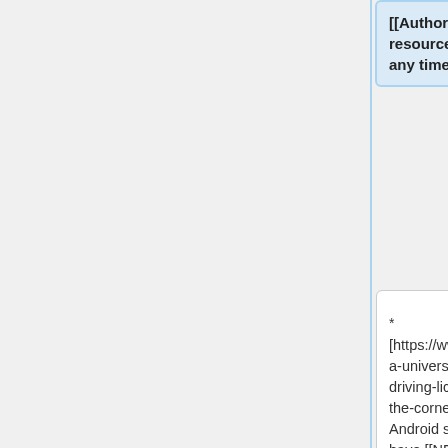[[Authorization]] to access some resource that can be revoked at any time.
* [https://www.scytales.com/post/is-a-universal-digital-driving-licence-around-the-corner iPhone and Android solutions] also have [[NFC]], [[QR]], [[Bluetooth]], [[Wifi Aware]] and [[Barcode]] readers technology
* [https://www.scytales.com/post/is-a-universal-digital-driving-licence-around-the-corner iPhone and Android solutions] also have [[NFC]], [[QR]], [[Bluetooth]], [[Wifi Aware]] and [[Barcode]] readers technology